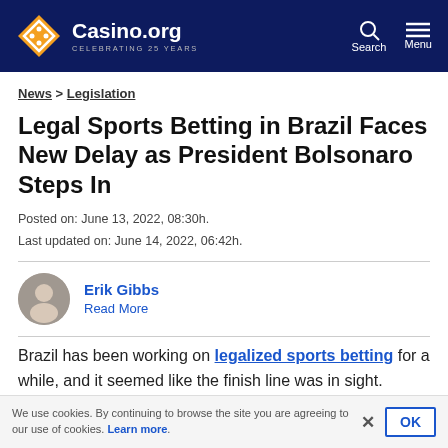Casino.org — CELEBRATING 25 YEARS | Search | Menu
News > Legislation
Legal Sports Betting in Brazil Faces New Delay as President Bolsonaro Steps In
Posted on: June 13, 2022, 08:30h.
Last updated on: June 14, 2022, 06:42h.
Erik Gibbs
Read More
Brazil has been working on legalized sports betting for a while, and it seemed like the finish line was in sight. However, the country's president, Jair Bolsonaro, just got in
We use cookies. By continuing to browse the site you are agreeing to our use of cookies. Learn more.